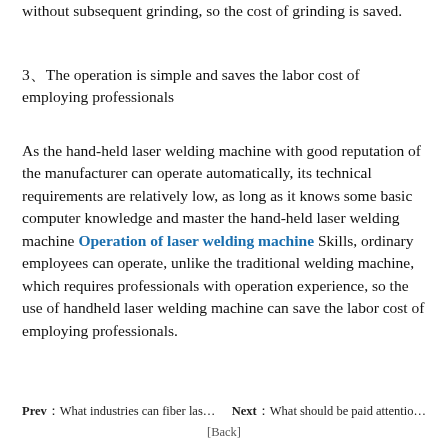without subsequent grinding, so the cost of grinding is saved.
3、The operation is simple and saves the labor cost of employing professionals
As the hand-held laser welding machine with good reputation of the manufacturer can operate automatically, its technical requirements are relatively low, as long as it knows some basic computer knowledge and master the hand-held laser welding machine Operation of laser welding machine Skills, ordinary employees can operate, unlike the traditional welding machine, which requires professionals with operation experience, so the use of handheld laser welding machine can save the labor cost of employing professionals.
Prev：What industries can fiber las…    Next：What should be paid attentio…
[Back]